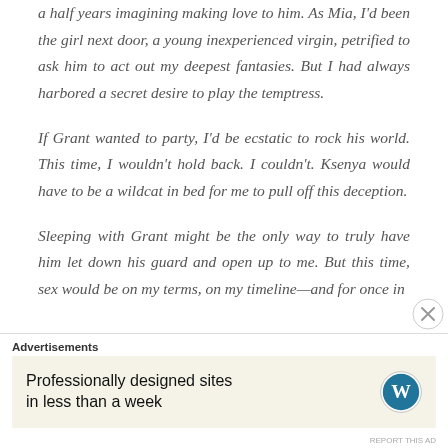a half years imagining making love to him. As Mia, I'd been the girl next door, a young inexperienced virgin, petrified to ask him to act out my deepest fantasies. But I had always harbored a secret desire to play the temptress.
If Grant wanted to party, I'd be ecstatic to rock his world. This time, I wouldn't hold back. I couldn't. Ksenya would have to be a wildcat in bed for me to pull off this deception.
Sleeping with Grant might be the only way to truly have him let down his guard and open up to me. But this time, sex would be on my terms, on my timeline—and for once in
Advertisements
Professionally designed sites in less than a week